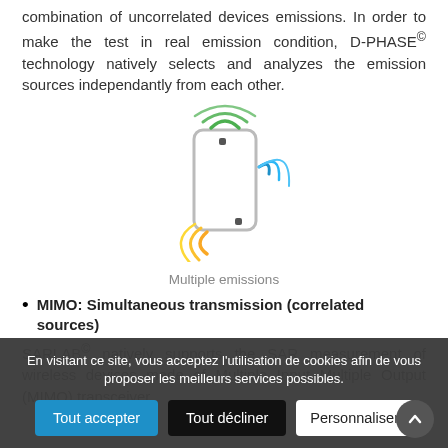combination of uncorrelated devices emissions. In order to make the test in real emission condition, D-PHASE© technology natively selects and analyzes the emission sources independantly from each other.
[Figure (illustration): Illustration of a smartphone with three wireless emission signals: green WiFi-style arcs at top, blue curved waves on the right side, and yellow/orange arcs at the bottom, representing multiple emissions.]
Multiple emissions
MIMO: Simultaneous transmission (correlated sources)
SARLAB© natively supports the SAR measurement of wireless devices made of Multiple Input Multiple Output (MIMO) transceiver.
En visitant ce site, vous acceptez l'utilisation de cookies afin de vous proposer les meilleurs services possibles.